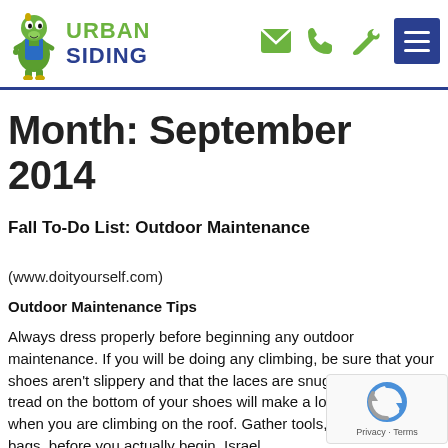[Figure (logo): Urban Siding logo with green mascot character (cartoon reptile in overalls), green text 'URBAN' and blue text 'SIDING', plus navigation icons (envelope, phone, wrench in green) and a dark blue hamburger menu button]
Month: September 2014
Fall To-Do List: Outdoor Maintenance
(www.doityourself.com)
Outdoor Maintenance Tips
Always dress properly before beginning any outdoor maintenance. If you will be doing any climbing, be sure that your shoes aren't slippery and that the laces are snugly tied. Good tread on the bottom of your shoes will make a lot of difference when you are climbing on the roof. Gather tools, including trash bags, before you actually begin. Israel